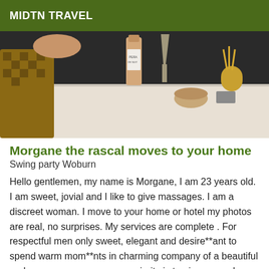MIDTN TRAVEL
[Figure (photo): Photo of a white table with a wine bottle, champagne flute, a small basket, and a reed diffuser with amber liquid. A person's arm and a checkered bag are partially visible on the left.]
Morgane the rascal moves to your home
Swing party Woburn
Hello gentlemen, my name is Morgane, I am 23 years old. I am sweet, jovial and I like to give massages. I am a discreet woman. I move to your home or hotel my photos are real, no surprises. My services are complete . For respectful men only sweet, elegant and desire**ant to spend warm mom**nts in charming company of a beautiful and sexy young woman, my priority is to give you a dream moment that you will never forget. My love